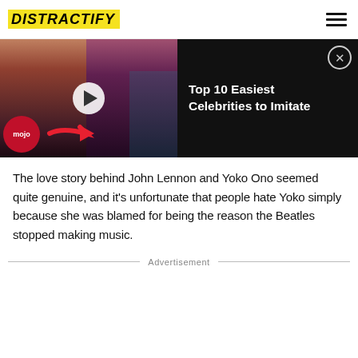DISTRACTIFY
[Figure (screenshot): Video thumbnail showing two women with a play button and a WatchMojo logo badge, with title 'Top 10 Easiest Celebrities to Imitate' on black background]
The love story behind John Lennon and Yoko Ono seemed quite genuine, and it’s unfortunate that people hate Yoko simply because she was blamed for being the reason the Beatles stopped making music.
Advertisement